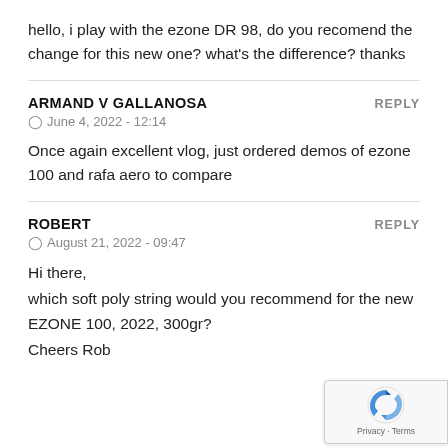hello, i play with the ezone DR 98, do you recomend the change for this new one? what's the difference? thanks
ARMAND V GALLANOSA
June 4, 2022 - 12:14
Once again excellent vlog, just ordered demos of ezone 100 and rafa aero to compare
ROBERT
August 21, 2022 - 09:47
Hi there,
which soft poly string would you recommend for the new EZONE 100, 2022, 300gr?
Cheers Rob
[Figure (logo): Google reCAPTCHA badge with spinning arrow logo and Privacy - Terms text]